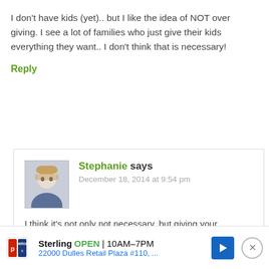I don't have kids (yet).. but I like the idea of NOT over giving. I see a lot of families who just give their kids everything they want.. I don't think that is necessary!
Reply
Stephanie says
December 18, 2014 at 9:54 pm
I think it's not only not necessary, but giving your
[Figure (other): Petco advertisement banner showing store name, open hours 10AM-7PM, address 22000 Dulles Retail Plaza #110, navigation arrow icon, and close button]